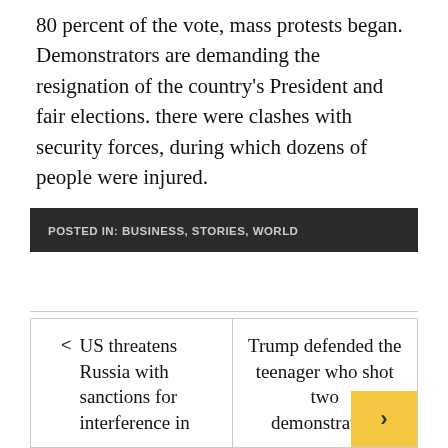80 percent of the vote, mass protests began. Demonstrators are demanding the resignation of the country's President and fair elections. there were clashes with security forces, during which dozens of people were injured.
POSTED IN: BUSINESS, STORIES, WORLD
< US threatens Russia with sanctions for interference in
Trump defended the teenager who shot two demonstrators >